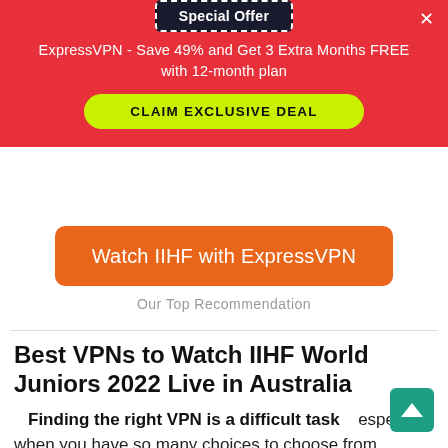Special Offer
ExpressVPN - Save 49% and Get 3 Extra Months FREE with 12-month plan
CLAIM EXCLUSIVE DEAL
[Figure (other): Orange button: Watch IIHF with ExpressVPN]
Our Top Recommendation
Best VPNs to Watch IIHF World Juniors 2022 Live in Australia
Finding the right VPN is a difficult task especially when you have so many choices to choose from. However, You can't watch the IIHF